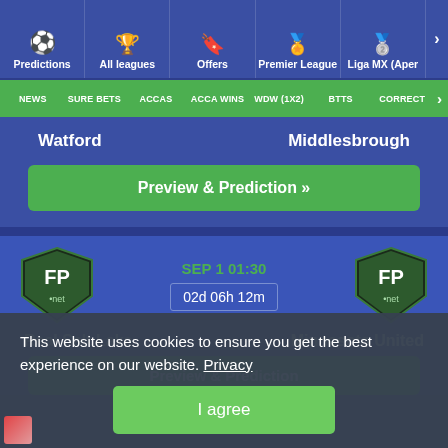Predictions | All leagues | Offers | Premier League | Liga MX (Aper
NEWS | SURE BETS | ACCAS | ACCA WINS | WDW (1X2) | BTTS | CORRECT
Watford
Middlesbrough
Preview & Prediction »
SEP 1 01:30
02d 06h 12m
Real Salt Lake
Minnesota United
Preview & Prediction
This website uses cookies to ensure you get the best experience on our website. Privacy
I agree